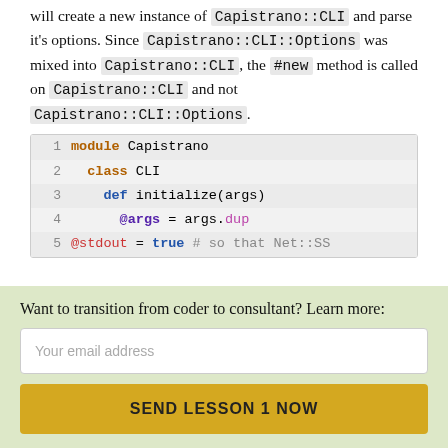will create a new instance of Capistrano::CLI and parse it's options. Since Capistrano::CLI::Options was mixed into Capistrano::CLI, the #new method is called on Capistrano::CLI and not Capistrano::CLI::Options.
[Figure (screenshot): Ruby code snippet showing module Capistrano, class CLI, def initialize(args), @args = args.dup, and a partially visible line 5]
Want to transition from coder to consultant? Learn more:
Your email address
SEND LESSON 1 NOW